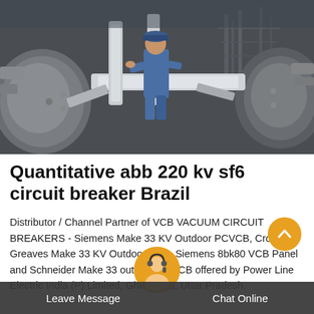[Figure (photo): Industrial electrical worker in blue coveralls and hard hat working among large electrical equipment, pipes, and machinery at a power substation or industrial facility]
Quantitative abb 220 kv sf6 circuit breaker Brazil
Distributor / Channel Partner of VCB VACUUM CIRCUIT BREAKERS - Siemens Make 33 KV Outdoor PCVCB, Crompton Greaves Make 33 KV Outdoor VCB, Siemens 8bk80 VCB Panel and Schneider Make 33 Outdoor PCVCB offered by Power Line Electric India (P) Limited, Ghaziabad, Uttar Pradesh.